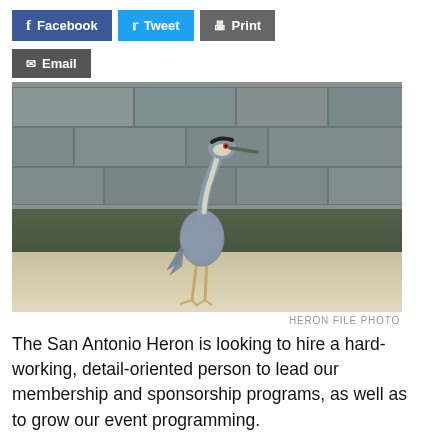[Figure (other): Social sharing buttons row: Facebook (blue), Tweet (light blue), Print (gray), Email (dark gray)]
[Figure (photo): A yellow-crowned night heron standing on white limestone rock with green water and a stone wall background. Caption: HERON FILE PHOTO]
HERON FILE PHOTO
The San Antonio Heron is looking to hire a hard-working, detail-oriented person to lead our membership and sponsorship programs, as well as to grow our event programming.